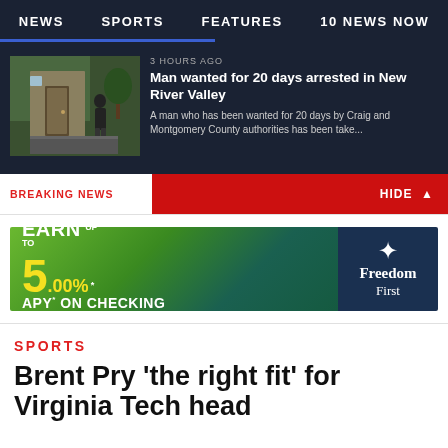NEWS  SPORTS  FEATURES  10 NEWS NOW
3 HOURS AGO
Man wanted for 20 days arrested in New River Valley
A man who has been wanted for 20 days by Craig and Montgomery County authorities has been take...
BREAKING NEWS  HIDE ^
[Figure (infographic): Freedom First Credit Union advertisement: EARN UP TO 5.00% APY* ON CHECKING. *Annual Percentage Yield. Federally Insured by NCUA.]
SPORTS
Brent Pry ‘the right fit’ for Virginia Tech head